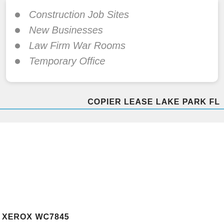Construction Job Sites
New Businesses
Law Firm War Rooms
Temporary Office
COPIER LEASE LAKE PARK FL
[Figure (logo): Xerox logo with red text 'xerox', Xerox ball graphic, registered trademark symbol, chat bubble saying 'How can we help you?' with notification badge showing 1, and a woman's face]
XEROX WC7845